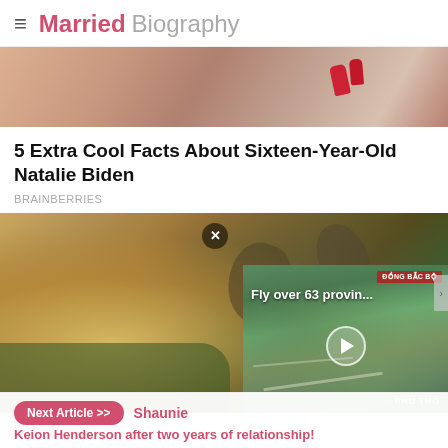Married Biography
[Figure (photo): Close-up photo of a person with red painted fingernails holding a phone]
5 Extra Cool Facts About Sixteen-Year-Old Natalie Biden
BRAINBERRIES
[Figure (photo): Extreme close-up microscope image of a creature with claws, with a video overlay showing aerial view of Vietnam provinces labeled 'Fly over 63 provin...' and 'PHU THO']
Next Article >> Shaunie Keion Henderson after two years of relationship!